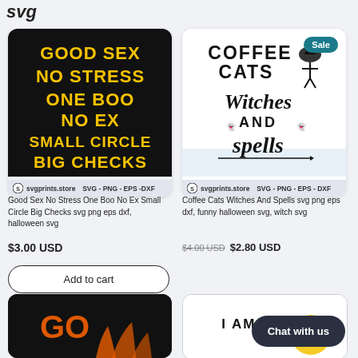svg
[Figure (illustration): Black background SVG product card with yellow and gold bold text reading: GOOD SEX / NO STRESS / ONE BOO / NO EX / SMALL CIRCLE / BIG CHECKS. Bottom watermark bar: svgprints.store SVG - PNG - EPS - DXF]
[Figure (illustration): White background SVG product card with black text: COFFEE CATS Witches AND spells, with witch silhouette illustration. Sale badge top right. Bottom watermark bar: svgprints.store SVG - PNG - EPS - DXF]
Good Sex No Stress One Boo No Ex Small Circle Big Checks svg png eps dxf, halloween svg
Coffee Cats Witches And Spells svg png eps dxf, funny halloween svg, witch svg
$3.00 USD
$4.00 USD  $2.80 USD
Add to cart
Chat with us
[Figure (illustration): Black background SVG product card, partial view at bottom, orange and dark text partially visible]
[Figure (illustration): White background SVG product card, partial view showing text: I AM A with a bee/halloween illustration]